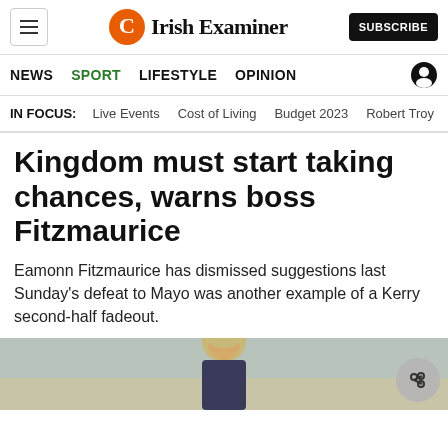Irish Examiner — NEWS | SPORT | LIFESTYLE | OPINION | SUBSCRIBE
IN FOCUS: Live Events  Cost of Living  Budget 2023  Robert Troy
Kingdom must start taking chances, warns boss Fitzmaurice
Eamonn Fitzmaurice has dismissed suggestions last Sunday's defeat to Mayo was another example of a Kerry second-half fadeout.
[Figure (photo): Photograph of a person (Eamonn Fitzmaurice) with a blurred outdoor background, partially visible at the bottom of the page. A share icon button is overlaid in the bottom-right corner.]